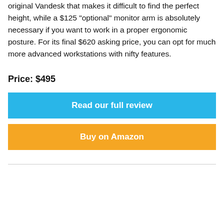original Vandesk that makes it difficult to find the perfect height, while a $125 "optional" monitor arm is absolutely necessary if you want to work in a proper ergonomic posture. For its final $620 asking price, you can opt for much more advanced workstations with nifty features.
Price: $495
Read our full review
Buy on Amazon